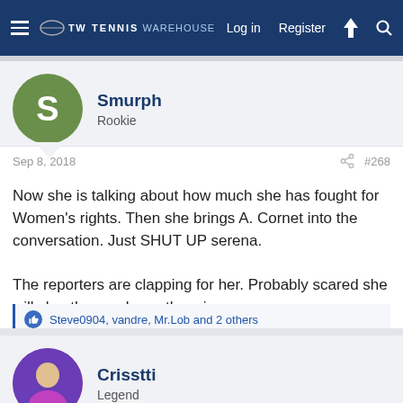Tennis Warehouse — Log in  Register
Smurph
Rookie
Sep 8, 2018  #268
Now she is talking about how much she has fought for Women's rights. Then she brings A. Cornet into the conversation. Just SHUT UP serena.

The reporters are clapping for her. Probably scared she will slug them unless otherwise.
Steve0904, vandre, Mr.Lob and 2 others
Crisstti
Legend